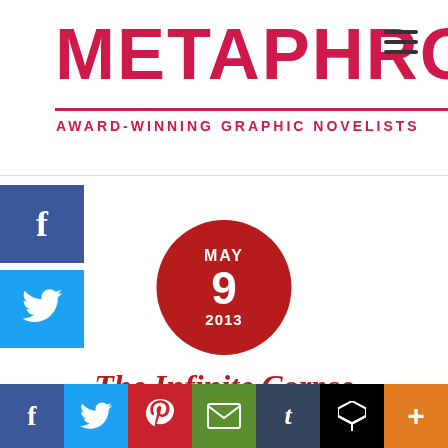METAPHROG AWARD-WINNING GRAPHIC NOVELISTS
[Figure (other): Date circle badge showing MAY 9 2013 in dark red/crimson circle]
The Infinite Corpse
METAPHROG / illustrations The Infinite Corpse / 0
[Figure (other): Bottom social sharing bar with Facebook, Twitter, Pinterest, Email, Tumblr, Buffer, and More buttons]